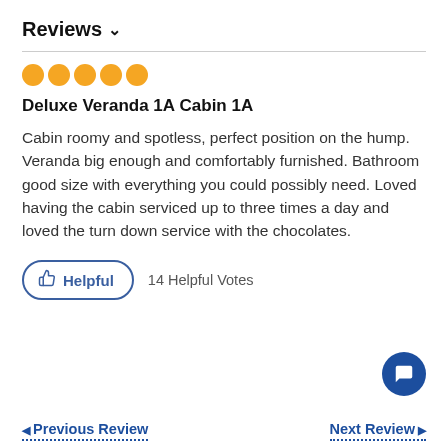Reviews ∨
[Figure (other): Five filled orange/yellow circles representing a 5-star rating]
Deluxe Veranda 1A
Cabin 1A
Cabin roomy and spotless, perfect position on the hump. Veranda big enough and comfortably furnished. Bathroom good size with everything you could possibly need. Loved having the cabin serviced up to three times a day and loved the turn down service with the chocolates.
Helpful   14 Helpful Votes
◀ Previous Review
Next Review ▶